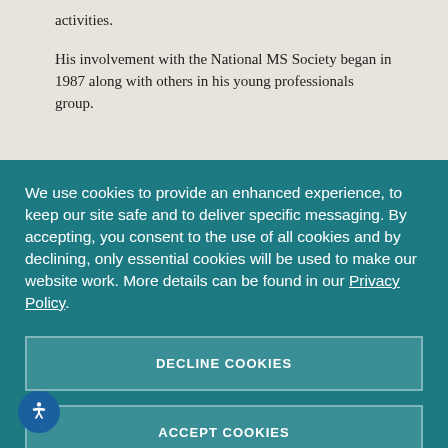activities.
His involvement with the National MS Society began in 1987 along with others in his young professionals group.
We use cookies to provide an enhanced experience, to keep our site safe and to deliver specific messaging. By accepting, you consent to the use of all cookies and by declining, only essential cookies will be used to make our website work. More details can be found in our Privacy Policy.
DECLINE COOKIES
ACCEPT COOKIES